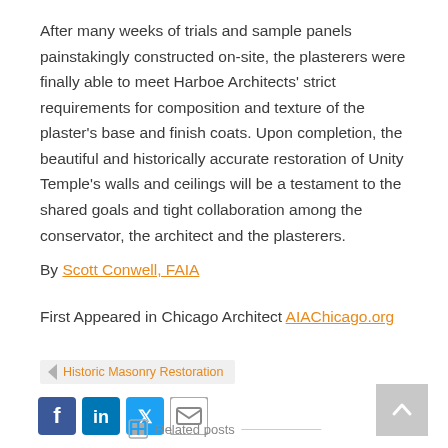After many weeks of trials and sample panels painstakingly constructed on-site, the plasterers were finally able to meet Harboe Architects' strict requirements for composition and texture of the plaster's base and finish coats. Upon completion, the beautiful and historically accurate restoration of Unity Temple's walls and ceilings will be a testament to the shared goals and tight collaboration among the conservator, the architect and the plasterers.
By Scott Conwell, FAIA
First Appeared in Chicago Architect AIAChicago.org
Historic Masonry Restoration
[Figure (other): Social sharing icons: Facebook, LinkedIn, Twitter, Email]
Related posts